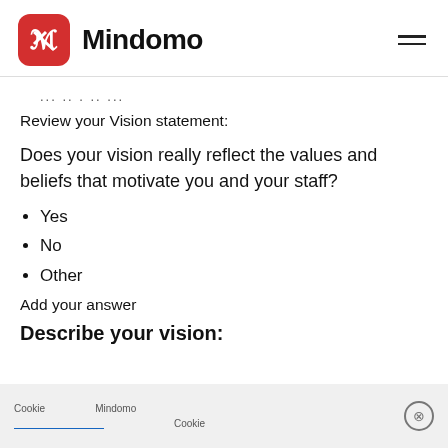Mindomo
... .. . .. ...
Review your Vision statement:
Does your vision really reflect the values and beliefs that motivate you and your staff?
Yes
No
Other
Add your answer
Describe your vision:
Cookie notice — Mindomo uses cookies to improve your experience. By continuing to use this site, you agree to our Cookie policy.